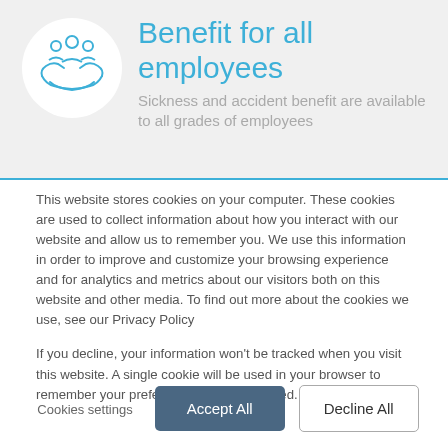[Figure (illustration): Blue outline icon of people/family being held in cupped hands, inside a white circle on a light grey banner background]
Benefit for all employees
Sickness and accident benefit are available to all grades of employees
This website stores cookies on your computer. These cookies are used to collect information about how you interact with our website and allow us to remember you. We use this information in order to improve and customize your browsing experience and for analytics and metrics about our visitors both on this website and other media. To find out more about the cookies we use, see our Privacy Policy
If you decline, your information won't be tracked when you visit this website. A single cookie will be used in your browser to remember your preference not to be tracked.
Cookies settings
Accept All
Decline All